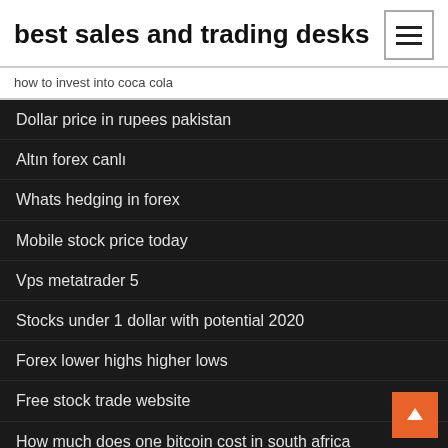best sales and trading desks
how to invest into coca cola
Dollar price in rupees pakistan
Altın forex canlı
Whats hedging in forex
Mobile stock price today
Vps metatrader 5
Stocks under 1 dollar with potential 2020
Forex lower highs higher lows
Free stock trade website
How much does one bitcoin cost in south africa
Big mac price us